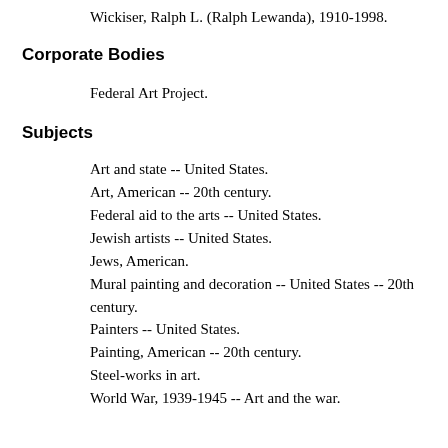Wickiser, Ralph L. (Ralph Lewanda), 1910-1998.
Corporate Bodies
Federal Art Project.
Subjects
Art and state -- United States.
Art, American -- 20th century.
Federal aid to the arts -- United States.
Jewish artists -- United States.
Jews, American.
Mural painting and decoration -- United States -- 20th century.
Painters -- United States.
Painting, American -- 20th century.
Steel-works in art.
World War, 1939-1945 -- Art and the war.
Genres and Forms
Clippings (information artifacts)
Correspondence.
Essays.
Exhibition catalogs.